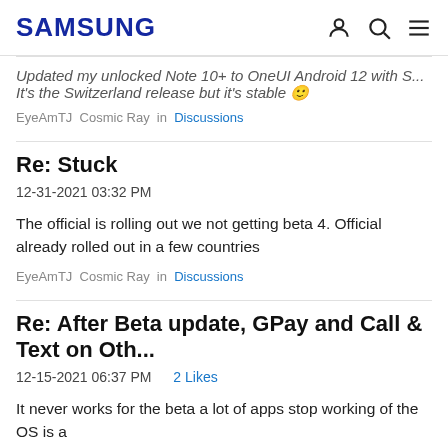SAMSUNG
Updated my unlocked Note 10+ to OneUI Android 12 with S...It's the Switzerland release but it's stable 😊
EyeAmTJ Cosmic Ray in Discussions
Re: Stuck
12-31-2021 03:32 PM
The official is rolling out we not getting beta 4. Official already rolled out in a few countries
EyeAmTJ Cosmic Ray in Discussions
Re: After Beta update, GPay and Call & Text on Oth...
12-15-2021 06:37 PM   2 Likes
It never works for the beta a lot of apps stop working of the OS is a